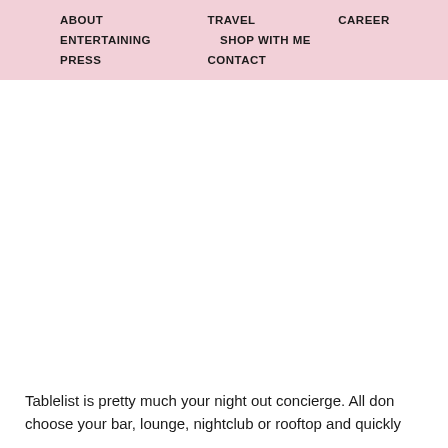ABOUT   TRAVEL   CAREER   ENTERTAINING   SHOP WITH ME   PRESS   CONTACT
Tablelist is pretty much your night out concierge. All don choose your bar, lounge, nightclub or rooftop and quickly